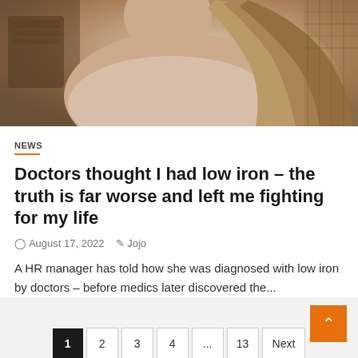[Figure (photo): Photo of a woman with long wavy blonde-brown hair wearing a light pink/nude tank top, seated outdoors near wicker furniture]
NEWS
Doctors thought I had low iron – the truth is far worse and left me fighting for my life
August 17, 2022   Jojo
A HR manager has told how she was diagnosed with low iron by doctors – before medics later discovered the...